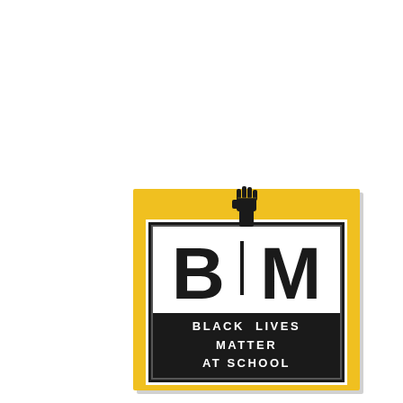[Figure (logo): Black Lives Matter at School logo: yellow square background with a raised fist icon at the top center, a black-and-white bordered inner rectangle containing large 'BLM' letters (B and M in black on white, with raised fist as the L), and a dark banner below reading 'BLACK LIVES MATTER AT SCHOOL' in white bold text.]